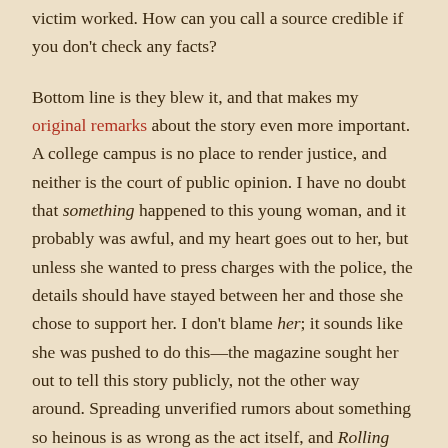victim worked. How can you call a source credible if you don't check any facts?
Bottom line is they blew it, and that makes my original remarks about the story even more important. A college campus is no place to render justice, and neither is the court of public opinion. I have no doubt that something happened to this young woman, and it probably was awful, and my heart goes out to her, but unless she wanted to press charges with the police, the details should have stayed between her and those she chose to support her. I don't blame her; it sounds like she was pushed to do this—the magazine sought her out to tell this story publicly, not the other way around. Spreading unverified rumors about something so heinous is as wrong as the act itself, and Rolling Stone should know better.
via: Rolling Stone Says It No Longer Trusts Woman in Gang